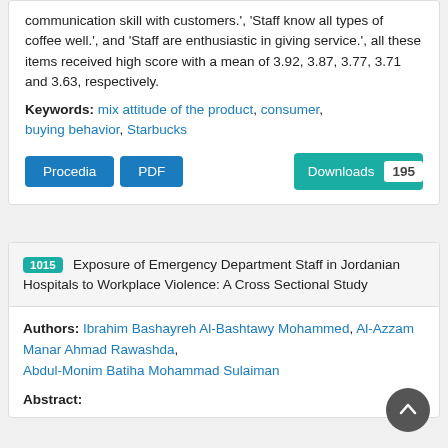communication skill with customers.', 'Staff know all types of coffee well.', and 'Staff are enthusiastic in giving service.', all these items received high score with a mean of 3.92, 3.87, 3.77, 3.71 and 3.63, respectively.
Keywords: mix attitude of the product, consumer, buying behavior, Starbucks
Procedia  PDF  Downloads 195
1015 Exposure of Emergency Department Staff in Jordanian Hospitals to Workplace Violence: A Cross Sectional Study
Authors: Ibrahim Bashayreh Al-Bashtawy Mohammed, Al-Azzam Manar Ahmad Rawashda, Abdul-Monim Batiha Mohammad Sulaiman
Abstract: